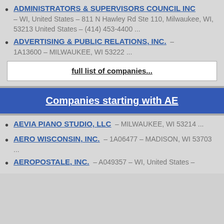ADMINISTRATORS & SUPERVISORS COUNCIL INC – WI, United States – 811 N Hawley Rd Ste 110, Milwaukee, WI, 53213 United States – (414) 453-4400 ...
ADVERTISING & PUBLIC RELATIONS, INC. – 1A13600 – MILWAUKEE, WI 53222 ...
full list of companies...
Companies starting with AE
AEVIA PIANO STUDIO, LLC – MILWAUKEE, WI 53214 ...
AERO WISCONSIN, INC. – 1A06477 – MADISON, WI 53703 ...
AEROPOSTALE, INC. – A049357 – WI, United States –